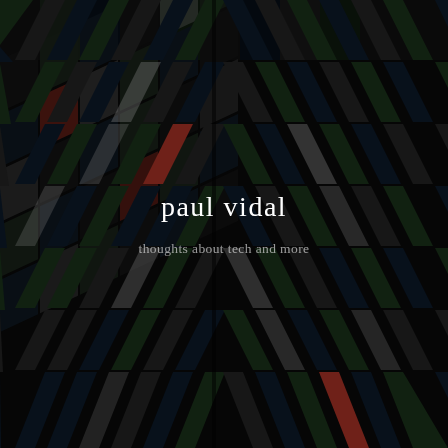[Figure (illustration): Dark photograph of a building facade with a diamond/herringbone pattern of colored panels — black, dark grey, dark blue, dark green, white/light grey, and occasional red/orange tiles — arranged diagonally creating a chevron effect. The building corner is visible in the center, with panels receding to both left and right.]
paul vidal
thoughts about tech and more